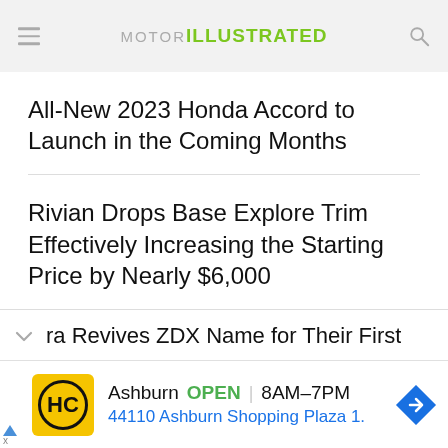MOTOR ILLUSTRATED
All-New 2023 Honda Accord to Launch in the Coming Months
Rivian Drops Base Explore Trim Effectively Increasing the Starting Price by Nearly $6,000
ra Revives ZDX Name for Their First
Ashburn  OPEN  8AM–7PM  44110 Ashburn Shopping Plaza 1.